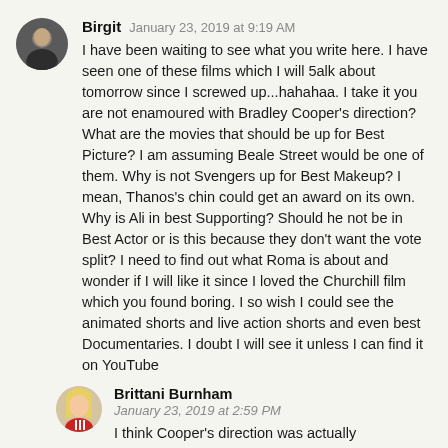[Figure (photo): Circular avatar of user Birgit — a person in dark clothing]
Birgit  January 23, 2019 at 9:19 AM
I have been waiting to see what you write here. I have seen one of these films which I will 5alk about tomorrow since I screwed up...hahahaa. I take it you are not enamoured with Bradley Cooper's direction? What are the movies that should be up for Best Picture? I am assuming Beale Street would be one of them. Why is not Svengers up for Best Makeup? I mean, Thanos's chin could get an award on its own. Why is Ali in best Supporting? Should he not be in Best Actor or is this because they don't want the vote split? I need to find out what Roma is about and wonder if I will like it since I loved the Churchill film which you found boring. I so wish I could see the animated shorts and live action shorts and even best Documentaries. I doubt I will see it unless I can find it on YouTube
[Figure (illustration): Circular avatar of user Brittani Burnham — illustrated/cartoon style character with long blonde hair]
Brittani Burnham
January 23, 2019 at 2:59 PM
I think Cooper's direction was actually